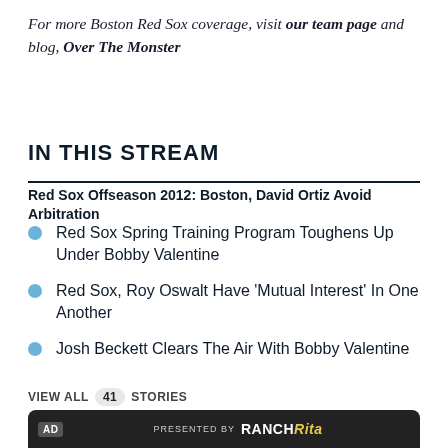For more Boston Red Sox coverage, visit our team page and blog, Over The Monster
IN THIS STREAM
Red Sox Offseason 2012: Boston, David Ortiz Avoid Arbitration
Red Sox Spring Training Program Toughens Up Under Bobby Valentine
Red Sox, Roy Oswalt Have 'Mutual Interest' In One Another
Josh Beckett Clears The Air With Bobby Valentine
VIEW ALL 41 STORIES
[Figure (other): Advertisement banner: AD label, PRESENTED BY RANCH Rita logo]